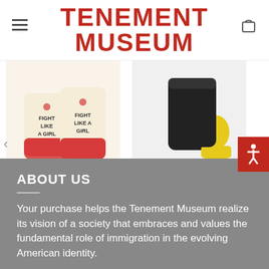TENEMENT MUSEUM
[Figure (photo): Cream-colored socks with red toes and 'FIGHT LIKE A GIRL' text and floral tattoo design]
APPAREL
Fight Like A Girl Socks
$14.99
[Figure (photo): Black ankle socks with yellow heel and toe]
APPAREL
Women's Skyline Socks
$19.99
ABOUT US
Your purchase helps the Tenement Museum realize its vision of a society that embraces and values the fundamental role of immigration in the evolving American identity.